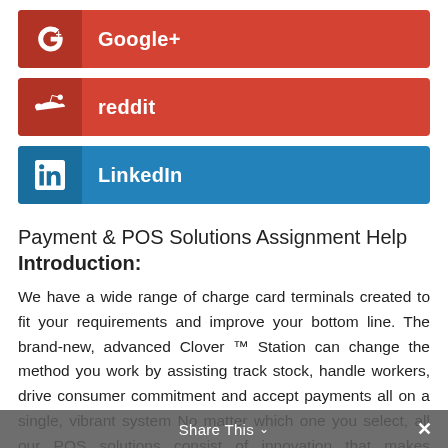[Figure (infographic): Google+ social share button — red button with G+ icon and label 'Google+']
[Figure (infographic): reddit social share button — red button with reddit alien icon and label 'reddit']
[Figure (infographic): LinkedIn social share button — blue button with LinkedIn 'in' icon and label 'LinkedIn']
Payment & POS Solutions Assignment Help
Introduction:
We have a wide range of charge card terminals created to fit your requirements and improve your bottom line. The brand-new, advanced Clover ™ Station can change the method you work by assisting track stock, handle workers, drive consumer commitment and accept payments all on a single, vibrant system No matter which one you select, all our POS solutions consist of innovation that makes handling payments simpler, more secure and smarter. CIS Solutions is a household
Share This